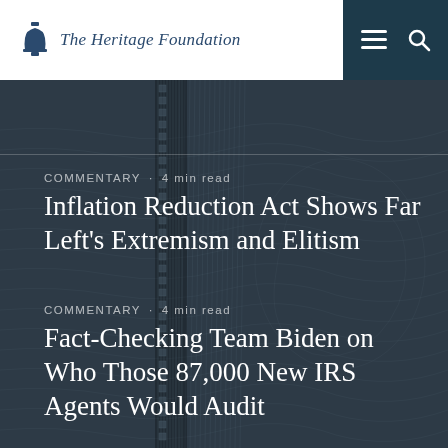The Heritage Foundation
COMMENTARY  4 min read
Inflation Reduction Act Shows Far Left's Extremism and Elitism
COMMENTARY  4 min read
Fact-Checking Team Biden on Who Those 87,000 New IRS Agents Would Audit